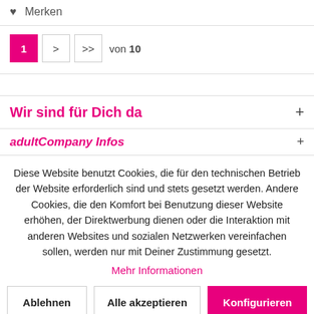♥ Merken
1 > >> von 10
Wir sind für Dich da +
adultCompany Infos +
Diese Website benutzt Cookies, die für den technischen Betrieb der Website erforderlich sind und stets gesetzt werden. Andere Cookies, die den Komfort bei Benutzung dieser Website erhöhen, der Direktwerbung dienen oder die Interaktion mit anderen Websites und sozialen Netzwerken vereinfachen sollen, werden nur mit Deiner Zustimmung gesetzt.
Mehr Informationen
Ablehnen   Alle akzeptieren   Konfigurieren